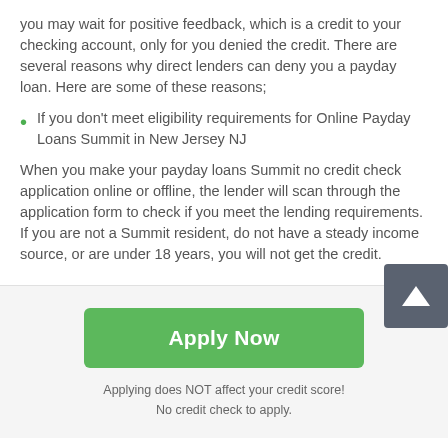you may wait for positive feedback, which is a credit to your checking account, only for you denied the credit. There are several reasons why direct lenders can deny you a payday loan. Here are some of these reasons;
If you don't meet eligibility requirements for Online Payday Loans Summit in New Jersey NJ
When you make your payday loans Summit no credit check application online or offline, the lender will scan through the application form to check if you meet the lending requirements. If you are not a Summit resident, do not have a steady income source, or are under 18 years, you will not get the credit.
Apply Now
Applying does NOT affect your credit score!
No credit check to apply.